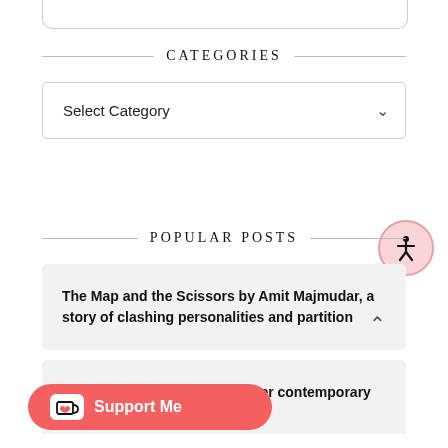CATEGORIES
Select Category
POPULAR POSTS
The Map and the Scissors by Amit Majmudar, a story of clashing personalities and partition
ughes – emotional rollercoaster contemporary romance
[Figure (illustration): Circular accessibility icon with pink background and person symbol]
[Figure (illustration): Support Me button with red background, coffee cup icon, and white text]